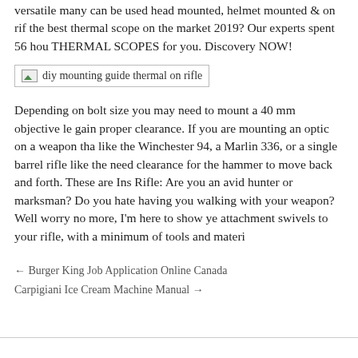versatile many can be used head mounted, helmet mounted & on rif... the best thermal scope on the market 2019? Our experts spent 56 hou... THERMAL SCOPES for you. Discovery NOW!
[Figure (photo): Image placeholder showing 'diy mounting guide thermal on rifle']
Depending on bolt size you may need to mount a 40 mm objective le... gain proper clearance. If you are mounting an optic on a weapon tha... like the Winchester 94, a Marlin 336, or a single barrel rifle like the ... need clearance for the hammer to move back and forth. These are Ins... Rifle: Are you an avid hunter or marksman? Do you hate having you... walking with your weapon? Well worry no more, I'm here to show ye... attachment swivels to your rifle, with a minimum of tools and materi...
← Burger King Job Application Online Canada
Carpigiani Ice Cream Machine Manual →